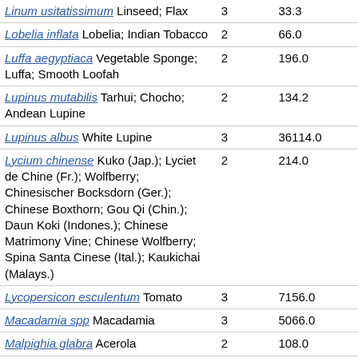| Linum usitatissimum Linseed; Flax | 3 | 33.3 |
| Lobelia inflata Lobelia; Indian Tobacco | 2 | 66.0 |
| Luffa aegyptiaca Vegetable Sponge; Luffa; Smooth Loofah | 2 | 196.0 |
| Lupinus mutabilis Tarhui; Chocho; Andean Lupine | 2 | 134.2 |
| Lupinus albus White Lupine | 3 | 36114.0 |
| Lycium chinense Kuko (Jap.); Lyciet de Chine (Fr.); Wolfberry; Chinesischer Bocksdorn (Ger.); Chinese Boxthorn; Gou Qi (Chin.); Daun Koki (Indones.); Chinese Matrimony Vine; Chinese Wolfberry; Spina Santa Cinese (Ital.); Kaukichai (Malays.) | 2 | 214.0 |
| Lycopersicon esculentum Tomato | 3 | 7156.0 |
| Macadamia spp Macadamia | 3 | 5066.0 |
| Malpighia glabra Acerola | 2 | 108.0 |
| Malus domestica Apple | 3 | 1010.3 |